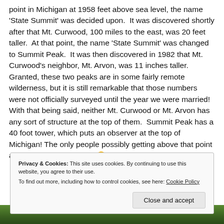point in Michigan at 1958 feet above sea level, the name 'State Summit' was decided upon. It was discovered shortly after that Mt. Curwood, 100 miles to the east, was 20 feet taller. At that point, the name 'State Summit' was changed to Summit Peak. It was then discovered in 1982 that Mt. Curwood's neighbor, Mt. Arvon, was 11 inches taller. Granted, these two peaks are in some fairly remote wilderness, but it is still remarkable that those numbers were not officially surveyed until the year we were married! With that being said, neither Mt. Curwood or Mt. Arvon has any sort of structure at the top of them. Summit Peak has a 40 foot tower, which puts an observer at the top of Michigan! The only people possibly getting above that point are radio tower workers. 🙂
Privacy & Cookies: This site uses cookies. By continuing to use this website, you agree to their use. To find out more, including how to control cookies, see here: Cookie Policy
[Figure (photo): Partial photo strip at bottom showing green tree foliage]